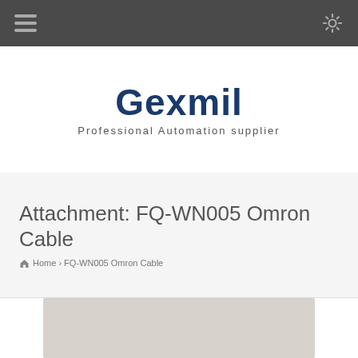[Navigation bar with hamburger menu and settings icon]
[Figure (logo): Gexmil logo with text 'Gexmil' in large bold dark blue font and subtitle 'Professional Automation supplier']
Attachment: FQ-WN005 Omron Cable
Home > FQ-WN005 Omron Cable
[Figure (photo): Product photo of FQ-WN005 Omron Cable, showing a light grey/beige surface, partially visible]